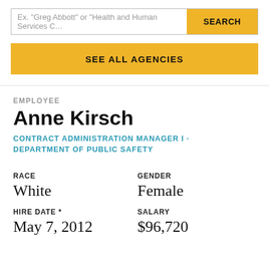Ex. "Greg Abbott" or "Health and Human Services C…
SEARCH
SEE ALL AGENCIES
EMPLOYEE
Anne Kirsch
CONTRACT ADMINISTRATION MANAGER I · DEPARTMENT OF PUBLIC SAFETY
RACE
White
GENDER
Female
HIRE DATE *
May 7, 2012
SALARY
$96,720